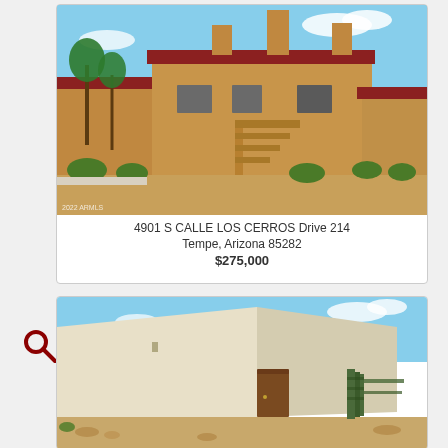[Figure (photo): Exterior photo of a two-story Southwest-style stucco condominium complex with terracotta tile roofs, multiple chimneys, exterior staircase, palm trees, and desert landscaping with shrubs.]
4901 S CALLE LOS CERROS Drive 214
Tempe, Arizona 85282
$275,000
[Figure (photo): Exterior photo of a single-story stucco building with flat roof angle, a brown door, green wooden fence, and desert rock landscaping under a blue sky.]